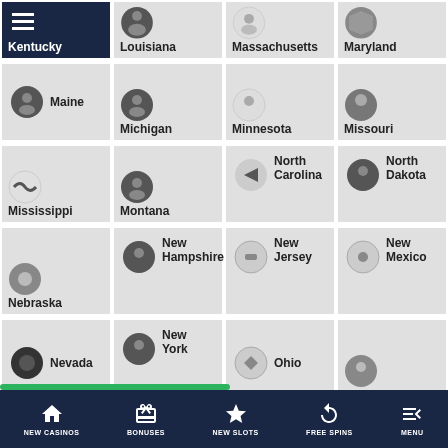[Figure (screenshot): Mobile website/app screenshot showing a grid of US state navigation tiles with state seal icons. Row 1 (partial): Kentucky (with hamburger menu icon), Louisiana, Massachusetts, Maryland. Row 2: Maine, Michigan, Minnesota, Missouri. Row 3: Mississippi, Montana, North Carolina, North Dakota. Row 4: Nebraska, New Hampshire, New Jersey, New Mexico. Row 5: Nevada, New York, Ohio, Oklahoma. Row 6 (partial): partial tiles visible for Rhode Island and South (Carolina/Dakota). Bottom navigation bar with: NEW CASINOS (home icon), BONUSES (gift icon), NEW SLOTS (star icon), FREE SPINS (refresh icon), MENU (filter icon). Green progress/indicator bar above nav.]